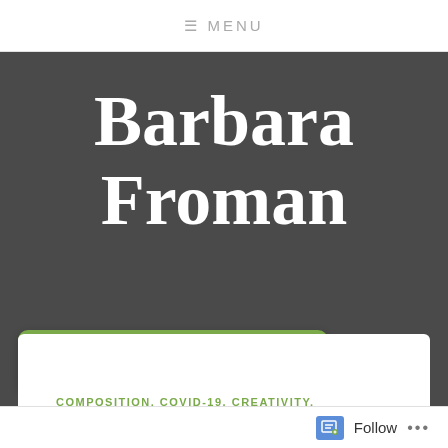≡ MENU
Barbara Froman
TAG: COVID-19
COMPOSITION. COVID-19. CREATIVITY.
Follow ...